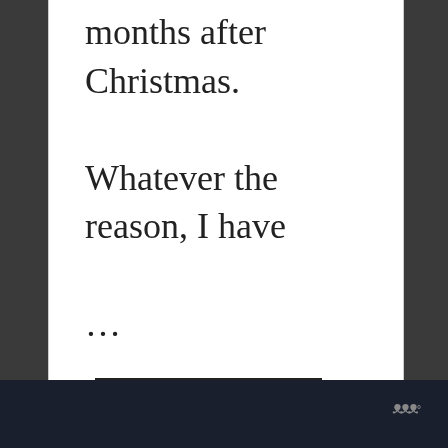months after Christmas.

Whatever the reason, I have

...
Read More
88
[Figure (screenshot): WHAT'S NEXT panel with thumbnail image and text 'Chalkboard Paint Crafts.']
W°